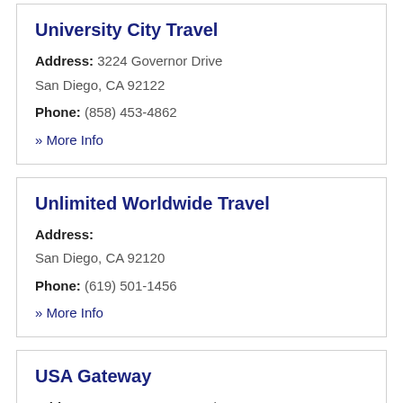University City Travel
Address: 3224 Governor Drive
San Diego, CA 92122
Phone: (858) 453-4862
» More Info
Unlimited Worldwide Travel
Address:
San Diego, CA 92120
Phone: (619) 501-1456
» More Info
USA Gateway
Address: 3750 Convoy St Suite 203